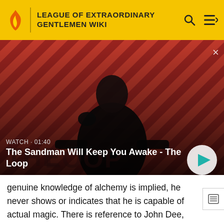LEAGUE OF EXTRAORDINARY GENTLEMEN WIKI
[Figure (screenshot): Video thumbnail showing a dark figure with a raven on shoulder against red and black diagonal striped background. Overlay text reads: WATCH · 01:40 / The Sandman Will Keep You Awake - The Loop. A play button is visible at bottom right.]
genuine knowledge of alchemy is implied, he never shows or indicates that he is capable of actual magic. There is reference to John Dee, and at one point, Dol Common dresses up as "the queen of faeries."  The final con is when Face tricks the other two out of their money.